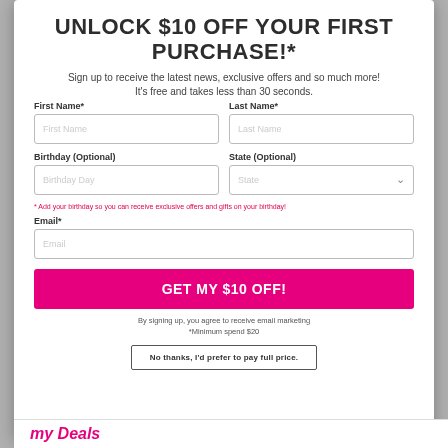UNLOCK $10 OFF YOUR FIRST PURCHASE!*
Sign up to receive the latest news, exclusive offers and so much more!
It's free and takes less than 30 seconds.
First Name*
Last Name*
Birthday (Optional)
State (Optional)
* Add your birthday so you can receive exclusive offers and gifts on your birthday!
Email*
GET MY $10 OFF!
By signing up, you agree to receive email marketing *Minimum spend $20
No thanks, I'd prefer to pay full price.